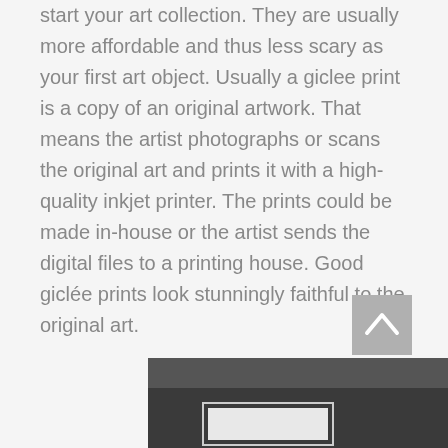start your art collection. They are usually more affordable and thus less scary as your first art object. Usually a giclee print is a copy of an original artwork. That means the artist photographs or scans the original art and prints it with a high-quality inkjet printer. The prints could be made in-house or the artist sends the digital files to a printing house. Good giclée prints look stunningly faithful to the original art.
[Figure (screenshot): A scroll-to-top button: a grey square with an upward-pointing chevron/arrow icon]
[Figure (photo): Bottom portion of a photograph showing a dark grey background with a small framed artwork or card visible at the bottom center]